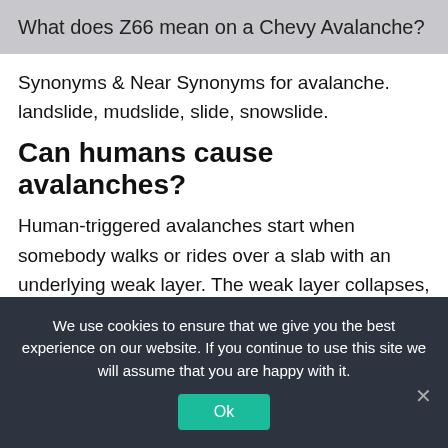What does Z66 mean on a Chevy Avalanche?
Synonyms & Near Synonyms for avalanche. landslide, mudslide, slide, snowslide.
Can humans cause avalanches?
Human-triggered avalanches start when somebody walks or rides over a slab with an underlying weak layer. The weak layer collapses, causing the overlaying mass of snow to fracture and start to slide. Earthquakes can also trigger strong avalanches.
We use cookies to ensure that we give you the best experience on our website. If you continue to use this site we will assume that you are happy with it.